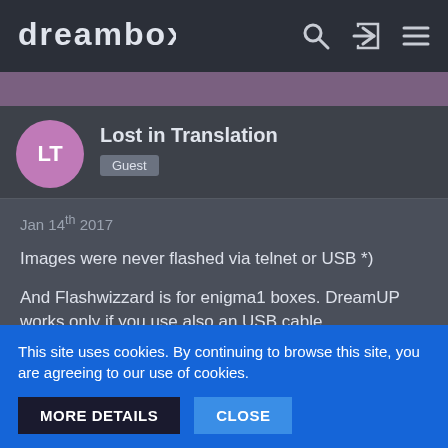dreambox
Lost in Translation
Guest
Jan 14th 2017
Images were never flashed via telnet or USB *)
And Flashwizzard is for enigma1 boxes. DreamUP works only if you use also an USB cable.
Probably your fireall or antivirus simply blocks the transfer, try to flash when they are disabled.
This site uses cookies. By continuing to browse this site, you are agreeing to our use of cookies.
MORE DETAILS
CLOSE